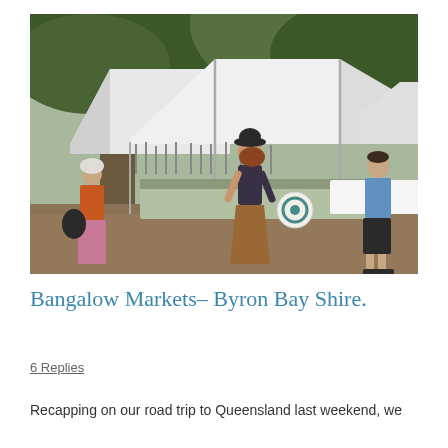[Figure (photo): Outdoor market scene under large trees. White canopy tents with dream catchers and handmade crafts hanging. A woman in a black hat and brown skirt stands in the center. An older woman in orange on the left, a man in a blue shirt on the right.]
Bangalow Markets– Byron Bay Shire.
6 Replies
Recapping on our road trip to Queensland last weekend, we